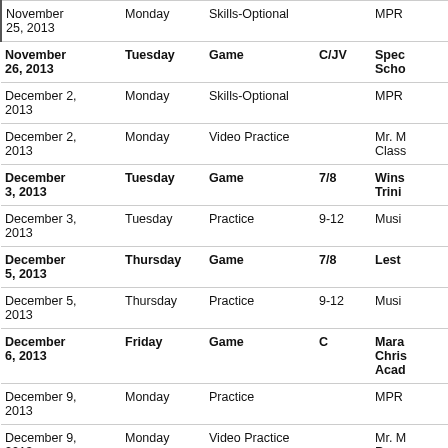| Date | Day | Event Type | Grade | Location |
| --- | --- | --- | --- | --- |
| November 25, 2013 | Monday | Skills-Optional |  | MPR |
| November 26, 2013 | Tuesday | Game | C/JV | Spec School |
| December 2, 2013 | Monday | Skills-Optional |  | MPR |
| December 2, 2013 | Monday | Video Practice |  | Mr. M Class |
| December 3, 2013 | Tuesday | Game | 7/8 | Wins Trini |
| December 3, 2013 | Tuesday | Practice | 9-12 | Music |
| December 5, 2013 | Thursday | Game | 7/8 | Leste |
| December 5, 2013 | Thursday | Practice | 9-12 | Music |
| December 6, 2013 | Friday | Game | C | Mara Chris Acad |
| December 9, 2013 | Monday | Practice |  | MPR |
| December 9, 2013 | Monday | Video Practice |  | Mr. M Room |
| December 10, 2013 | Tuesday | Game | JV/V | Calvi |